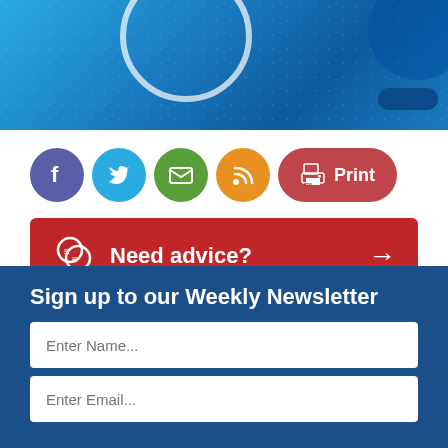[Figure (illustration): Blue banner image with circular graphic element and dark blue pill shape in corner]
[Figure (infographic): Social sharing icons row: Facebook (purple), Twitter (blue), Email (green), RSS (orange), and Print button (red pill)]
Need advice? →
Sign up to our Weekly Newsletter
Enter Name...
Enter Email...